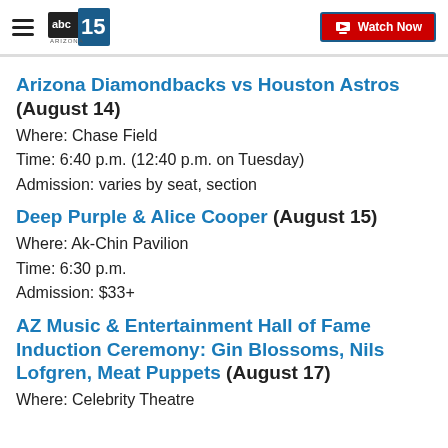ABC15 Arizona — Watch Now
Arizona Diamondbacks vs Houston Astros (August 14)
Where: Chase Field
Time: 6:40 p.m. (12:40 p.m. on Tuesday)
Admission: varies by seat, section
Deep Purple & Alice Cooper (August 15)
Where: Ak-Chin Pavilion
Time: 6:30 p.m.
Admission: $33+
AZ Music & Entertainment Hall of Fame Induction Ceremony: Gin Blossoms, Nils Lofgren, Meat Puppets (August 17)
Where: Celebrity Theatre